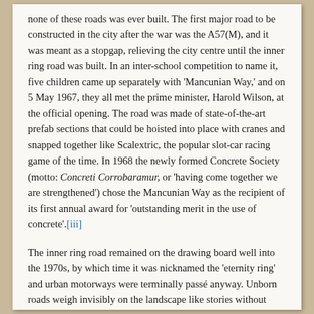none of these roads was ever built. The first major road to be constructed in the city after the war was the A57(M), and it was meant as a stopgap, relieving the city centre until the inner ring road was built. In an inter-school competition to name it, five children came up separately with 'Mancunian Way,' and on 5 May 1967, they all met the prime minister, Harold Wilson, at the official opening. The road was made of state-of-the-art prefab sections that could be hoisted into place with cranes and snapped together like Scalextric, the popular slot-car racing game of the time. In 1968 the newly formed Concrete Society (motto: Concreti Corrobaramur, or 'having come together we are strengthened') chose the Mancunian Way as the recipient of its first annual award for 'outstanding merit in the use of concrete'.[iii]
The inner ring road remained on the drawing board well into the 1970s, by which time it was nicknamed the 'eternity ring' and urban motorways were terminally passé anyway. Unborn roads weigh invisibly on the landscape like stories without endings. Manchester's unbuilt inner ring road created a city centre scarred with derelict sites, as the land remained in limbo until the plans were officially cancelled in the 1990s.